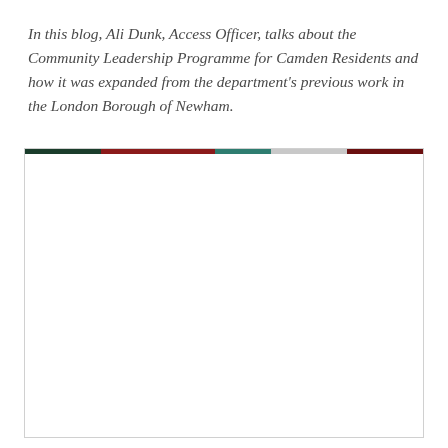In this blog, Ali Dunk, Access Officer, talks about the Community Leadership Programme for Camden Residents and how it was expanded from the department's previous work in the London Borough of Newham.
[Figure (photo): A mostly white/blank image area with a thin multicolored bar at the top consisting of dark green, red, teal, light gray, and dark red segments.]